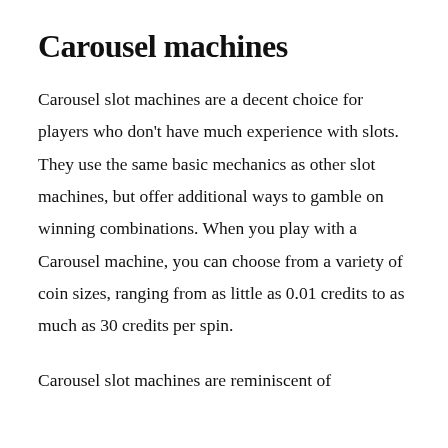Carousel machines
Carousel slot machines are a decent choice for players who don’t have much experience with slots. They use the same basic mechanics as other slot machines, but offer additional ways to gamble on winning combinations. When you play with a Carousel machine, you can choose from a variety of coin sizes, ranging from as little as 0.01 credits to as much as 30 credits per spin.
Carousel slot machines are reminiscent of